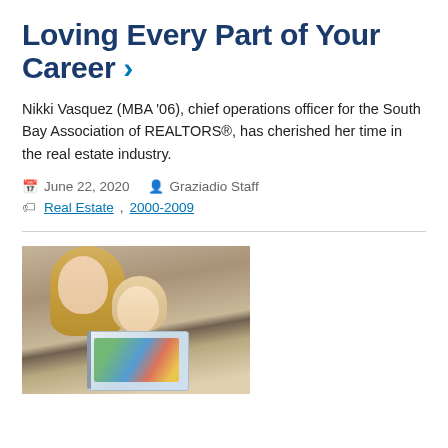Loving Every Part of Your Career >
Nikki Vasquez (MBA '06), chief operations officer for the South Bay Association of REALTORS®, has cherished her time in the real estate industry.
June 22, 2020   Graziadio Staff
Real Estate, 2000-2009
[Figure (photo): A woman with long blonde hair and a young girl with a pink bow reading a book together]